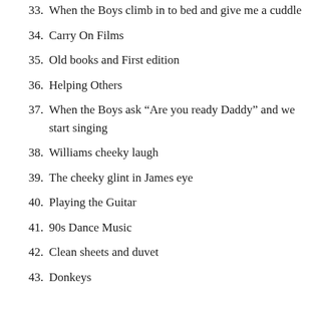33.  When the Boys climb in to bed and give me a cuddle
34.  Carry On Films
35.  Old books and First edition
36.  Helping Others
37.  When the Boys ask “Are you ready Daddy” and we start singing
38.  Williams cheeky laugh
39.  The cheeky glint in James eye
40.  Playing the Guitar
41.  90s Dance Music
42.  Clean sheets and duvet
43.  Donkeys